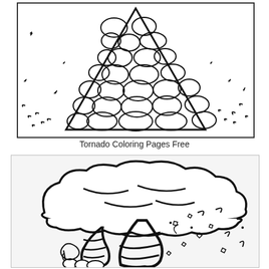[Figure (illustration): Black and white coloring page illustration of a tornado depicted as a triangular funnel shape made of rocks/stones, with debris scattered around on the ground.]
Tornado Coloring Pages Free
[Figure (illustration): Black and white coloring page illustration of a large storm cloud at the top with two tornado funnels descending from it, with debris scattered around.]